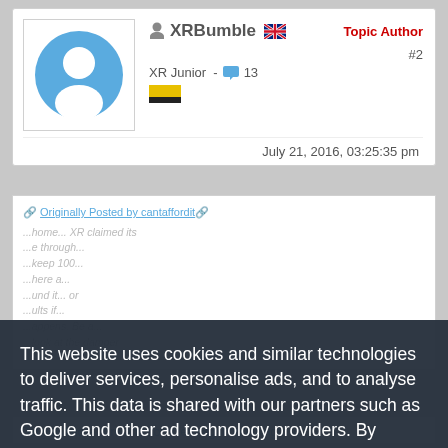XRBumble  Topic Author  XR Junior - 13  #2
July 21, 2016, 03:25:35 pm
This website uses cookies and similar technologies to deliver services, personalise ads, and to analyse traffic. This data is shared with our partners such as Google and other ad technology providers. By continuing to use this website you agree to this.
View our Privacy and Cookie Policy
I Agree
Did you find a cure and sorry leaving it on full right lo k ?